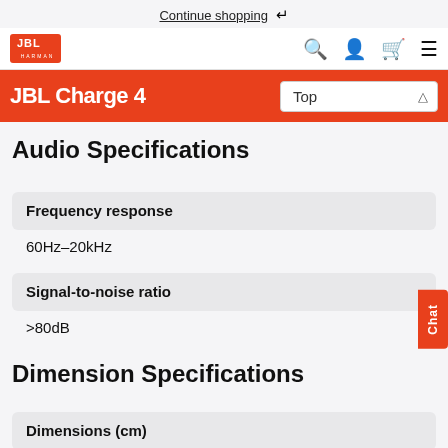Continue shopping ↩
JBL (Harman) logo, search, account, cart, menu icons
JBL Charge 4
Audio Specifications
Frequency response
60Hz–20kHz
Signal-to-noise ratio
>80dB
Dimension Specifications
Dimensions (cm)